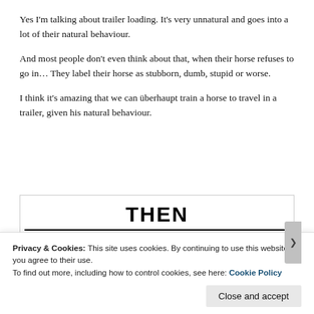Yes I'm talking about trailer loading. It's very unnatural and goes into a lot of their natural behaviour.
And most people don't even think about that, when their horse refuses to go in… They label their horse as stubborn, dumb, stupid or worse.
I think it's amazing that we can überhaupt train a horse to travel in a trailer, given his natural behaviour.
[Figure (other): Boxed section with bold text 'THEN' centered, a thick horizontal rule beneath it, and small icons below (a square icon, a key/lock icon, and a small figure icon).]
Privacy & Cookies: This site uses cookies. By continuing to use this website, you agree to their use.
To find out more, including how to control cookies, see here: Cookie Policy
Close and accept